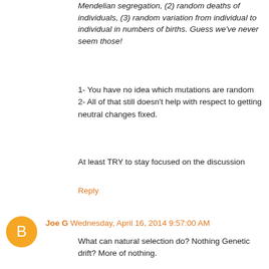Mendelian segregation, (2) random deaths of individuals, (3) random variation from individual to individual in numbers of births. Guess we've never seem those!
1- You have no idea which mutations are random
2- All of that still doesn't help with respect to getting neutral changes fixed.
At least TRY to stay focused on the discussion
Reply
Joe G  Wednesday, April 16, 2014 9:57:00 AM
What can natural selection do? Nothing Genetic drift? More of nothing.

Still no model for unguided evolution- no predictions, no math, no research, nothing. You chumps need to focus on the lameness of your position before you attack ID with your ignorance.
Reply